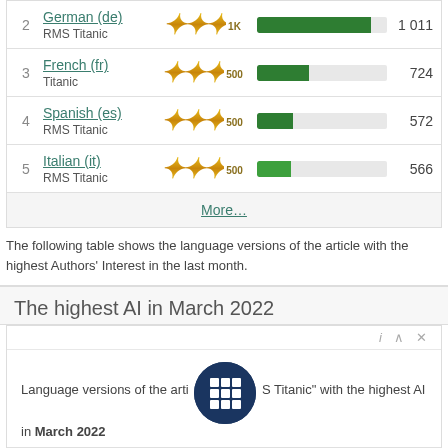| # | Language | Award | Bar | Count |
| --- | --- | --- | --- | --- |
| 2 | German (de)
RMS Titanic | 1K |  | 1 011 |
| 3 | French (fr)
Titanic | 500 |  | 724 |
| 4 | Spanish (es)
RMS Titanic | 500 |  | 572 |
| 5 | Italian (it)
RMS Titanic | 500 |  | 566 |
More…
The following table shows the language versions of the article with the highest Authors' Interest in the last month.
The highest AI in March 2022
Language versions of the article "RMS Titanic" with the highest AI in March 2022
| # | Language | AI award | Relative AI |
| --- | --- | --- | --- |